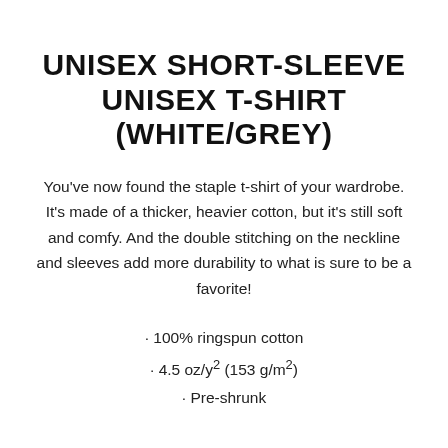UNISEX SHORT-SLEEVE UNISEX T-SHIRT (WHITE/GREY)
You've now found the staple t-shirt of your wardrobe. It's made of a thicker, heavier cotton, but it's still soft and comfy. And the double stitching on the neckline and sleeves add more durability to what is sure to be a favorite!
· 100% ringspun cotton
· 4.5 oz/y² (153 g/m²)
· Pre-shrunk